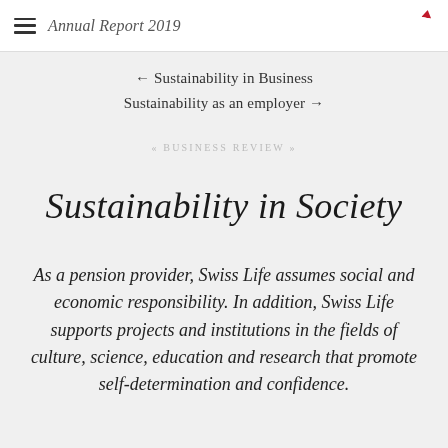Annual Report 2019
← Sustainability in Business
Sustainability as an employer →
« BUSINESS REVIEW »
Sustainability in Society
As a pension provider, Swiss Life assumes social and economic responsibility. In addition, Swiss Life supports projects and institutions in the fields of culture, science, education and research that promote self-determination and confidence.